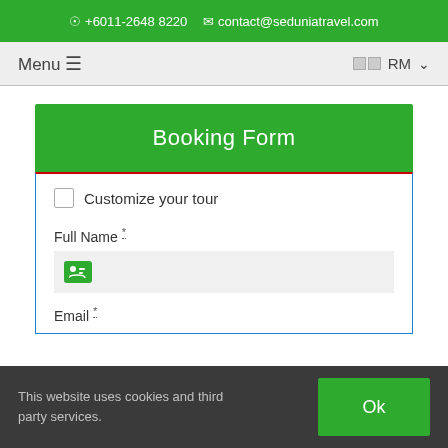+6011-2648 8220  contact@seduniatravel.com
Menu  ☰
🇲🇾 RM ▾
Booking Form
Customize your tour
Full Name *
Email *
This website uses cookies and third party services.
Ok